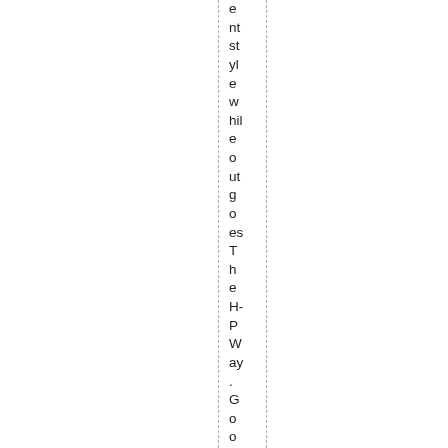ent style while out goes The H-P Way. Good people lf